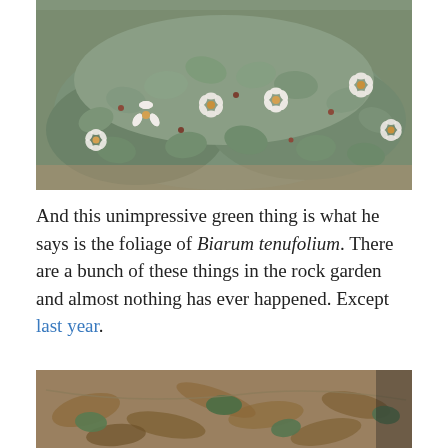[Figure (photo): Close-up photograph of a low-growing plant with small grayish-green oval leaves and small white flowers with orange-yellow centers, growing densely as a ground cover.]
And this unimpressive green thing is what he says is the foliage of Biarum tenufolium. There are a bunch of these things in the rock garden and almost nothing has ever happened. Except last year.
[Figure (photo): Photograph of ground-level view showing fallen leaves, soil, and small green plant leaves of Biarum tenufolium growing low to the ground.]